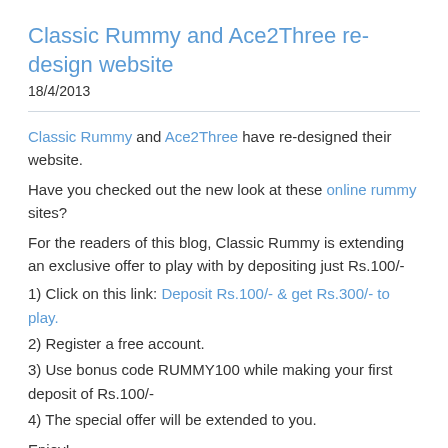Classic Rummy and Ace2Three re-design website
18/4/2013
Classic Rummy and Ace2Three have re-designed their website.
Have you checked out the new look at these online rummy sites?
For the readers of this blog, Classic Rummy is extending an exclusive offer to play with by depositing just Rs.100/-
1) Click on this link: Deposit Rs.100/- & get Rs.300/- to play.
2) Register a free account.
3) Use bonus code RUMMY100 while making your first deposit of Rs.100/-
4) The special offer will be extended to you.
Enjoy!
Like 0   Tweet
0 Comments